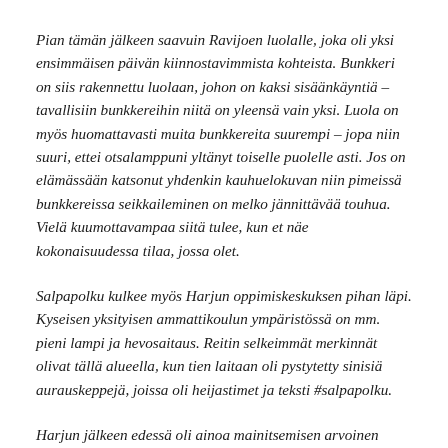Pian tämän jälkeen saavuin Ravijoen luolalle, joka oli yksi ensimmäisen päivän kiinnostavimmista kohteista. Bunkkeri on siis rakennettu luolaan, johon on kaksi sisäänkäyntiä – tavallisiin bunkkereihin niitä on yleensä vain yksi. Luola on myös huomattavasti muita bunkkereita suurempi – jopa niin suuri, ettei otsalamppuni yltänyt toiselle puolelle asti. Jos on elämässään katsonut yhdenkin kauhuelokuvan niin pimeissä bunkkereissa seikkaileminen on melko jännittävää touhua. Vielä kuumottavampaa siitä tulee, kun et näe kokonaisuudessa tilaa, jossa olet.
Salpapolku kulkee myös Harjun oppimiskeskuksen pihan läpi. Kyseisen yksityisen ammattikoulun ympäristössä on mm. pieni lampi ja hevosaitaus. Reitin selkeimmät merkinnät olivat tällä alueella, kun tien laitaan oli pystytetty sinisiä aurauskeppejä, joissa oli heijastimet ja teksti #salpapolku.
Harjun jälkeen edessä oli ainoa mainitsemisen arvoinen